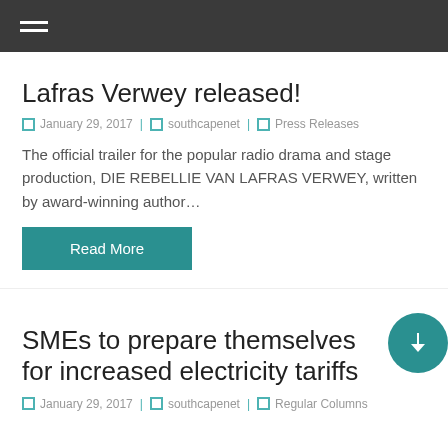Navigation menu
Lafras Verwey released!
January 29, 2017 | southcapenet | Press Releases
The official trailer for the popular radio drama and stage production, DIE REBELLIE VAN LAFRAS VERWEY, written by award-winning author…
Read More
SMEs to prepare themselves for increased electricity tariffs
January 29, 2017 | southcapenet | Regular Columns